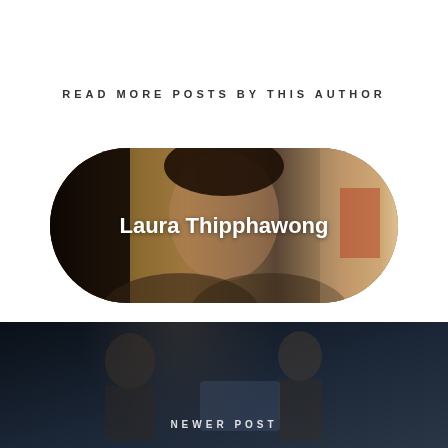READ MORE POSTS BY THIS AUTHOR
[Figure (photo): Author photo banner with rounded pill shape showing Laura Thipphawong with text overlay]
Laura Thipphawong
[Figure (infographic): Social media icons row: Twitter bird icon, Facebook icon, Google+ icon]
NEWER POST